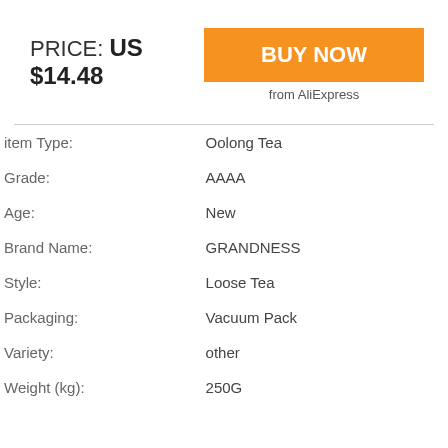PRICE: US $14.48
BUY NOW
from AliExpress
| Attribute | Value |
| --- | --- |
| item Type: | Oolong Tea |
| Grade: | AAAA |
| Age: | New |
| Brand Name: | GRANDNESS |
| Style: | Loose Tea |
| Packaging: | Vacuum Pack |
| Variety: | other |
| Weight (kg): | 250G |